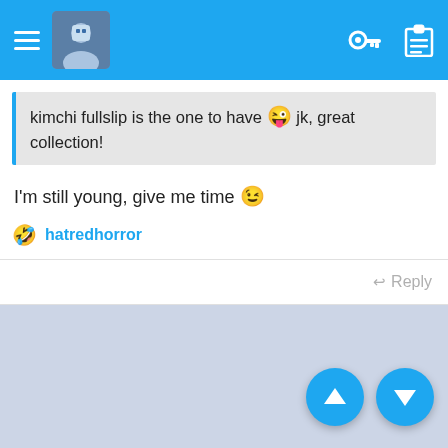App top bar with hamburger menu, avatar, key icon, clipboard icon
kimchi fullslip is the one to have 😜 jk, great collection!
I'm still young, give me time 😉
hatredhorror
↩ Reply